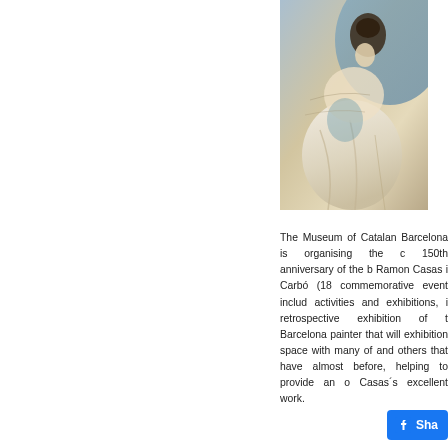[Figure (photo): A painting or drawing of a woman in a white dress, seated, rendered in a sketchy impressionistic style with muted blue and beige tones.]
The Museum of Catalan Barcelona is organising the c 150th anniversary of the b Ramon Casas i Carbó (18 commemorative event includ activities and exhibitions, i retrospective exhibition of t Barcelona painter that will exhibition space with many of and others that have almost before, helping to provide an o Casas´s excellent work.